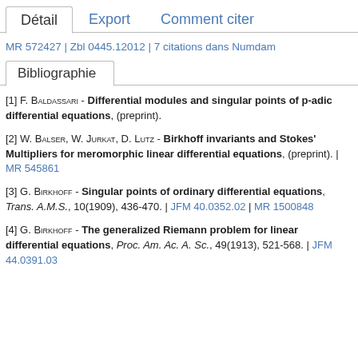Détail | Export | Comment citer
MR 572427 | Zbl 0445.12012 | 7 citations dans Numdam
Bibliographie
[1] F. Baldassari - Differential modules and singular points of p-adic differential equations, (preprint).
[2] W. Balser, W. Jurkat, D. Lutz - Birkhoff invariants and Stokes' Multipliers for meromorphic linear differential equations, (preprint). | MR 545861
[3] G. Birkhoff - Singular points of ordinary differential equations, Trans. A.M.S., 10(1909), 436-470. | JFM 40.0352.02 | MR 1500848
[4] G. Birkhoff - The generalized Riemann problem for linear differential equations, Proc. Am. Ac. A. Sc., 49(1913), 521-568. | JFM 44.0391.03